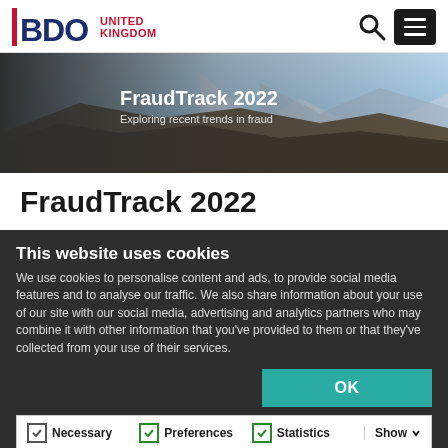BDO UNITED KINGDOM — navigation bar with search and menu icons
[Figure (photo): Hero banner image showing a hiker on a mountain landscape with the text 'FraudTrack 2022 — Exploring recent trends in fraud' overlaid on the left side]
FraudTrack 2022
Introduction
This website uses cookies
We use cookies to personalise content and ads, to provide social media features and to analyse our traffic. We also share information about your use of our site with our social media, advertising and analytics partners who may combine it with other information that you've provided to them or that they've collected from your use of their services.
OK
Necessary  Preferences  Statistics  Show